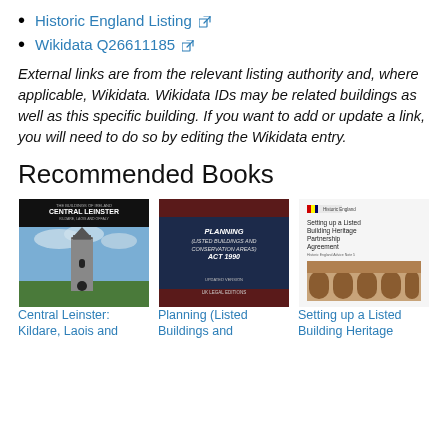Historic England Listing
Wikidata Q26611185
External links are from the relevant listing authority and, where applicable, Wikidata. Wikidata IDs may be related buildings as well as this specific building. If you want to add or update a link, you will need to do so by editing the Wikidata entry.
Recommended Books
[Figure (photo): Book cover: Central Leinster: Kildare, Laois and Offaly - showing a round tower against a cloudy sky]
Central Leinster: Kildare, Laois and
[Figure (photo): Book cover: Planning (Listed Buildings and Conservation Areas) Act 1990 - dark navy/maroon cover]
Planning (Listed Buildings and
[Figure (photo): Book cover: Setting up a Listed Building Heritage Partnership Agreement - Historic England, showing brick arches]
Setting up a Listed Building Heritage